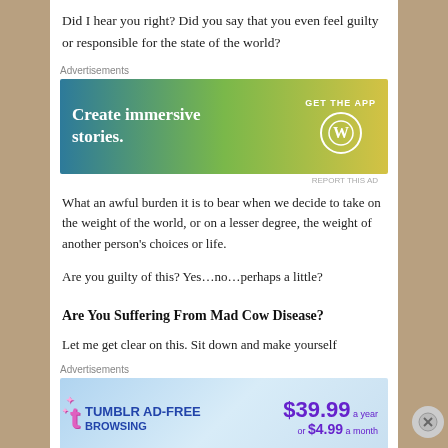Did I hear you right?  Did you say that you even feel guilty or responsible for the state of the world?
[Figure (screenshot): WordPress advertisement banner: 'Create immersive stories. GET THE APP' with WordPress logo on gradient blue-green-yellow background]
What an awful burden it is to bear when we decide to take on the weight of the world, or on a lesser degree, the weight of another person's choices or life.
Are you guilty of this?  Yes…no…perhaps a little?
Are You Suffering From Mad Cow Disease?
Let me get clear on this.  Sit down and make yourself
[Figure (screenshot): Tumblr ad-free browsing advertisement: $39.99 a year or $4.99 a month on blue gradient background with Tumblr logo]